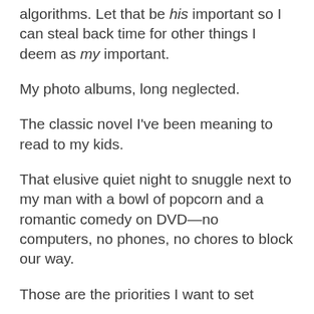algorithms. Let that be his important so I can steal back time for other things I deem as my important.
My photo albums, long neglected.
The classic novel I've been meaning to read to my kids.
That elusive quiet night to snuggle next to my man with a bowl of popcorn and a romantic comedy on DVD—no computers, no phones, no chores to block our way.
Those are the priorities I want to set